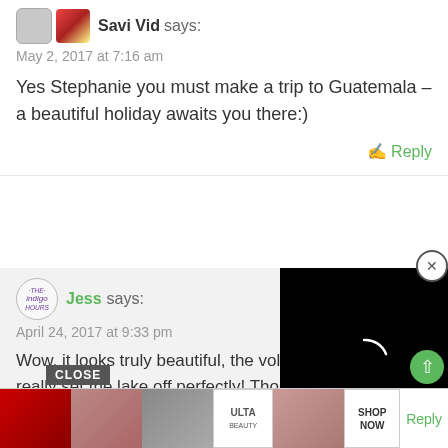Savi Vid says:
May 2, 2017 at 7:16 am
Yes Stephanie you must make a trip to Guatemala – a beautiful holiday awaits you there:)
Reply
[Figure (screenshot): User avatar icons for Savi Vid commenter]
Jess says:
April 24, 2017 at 9:33 pm
Wow, it looks truly beautiful, the volcanic mountains really set the lake off perfectly! Those owl cups are so cute too <3
[Figure (screenshot): Black video player overlay with loading arc]
[Figure (screenshot): ULTA beauty advertisement banner with beauty product images and SHOP NOW button]
Reply